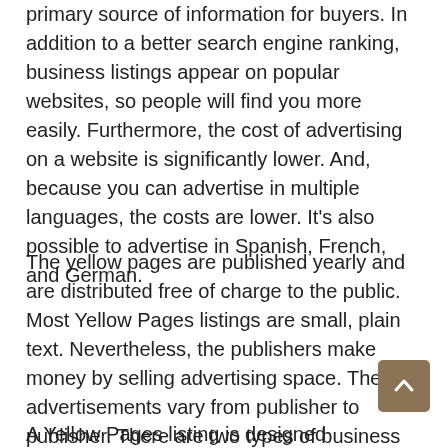primary source of information for buyers. In addition to a better search engine ranking, business listings appear on popular websites, so people will find you more easily. Furthermore, the cost of advertising on a website is significantly lower. And, because you can advertise in multiple languages, the costs are lower. It's also possible to advertise in Spanish, French, and German.
The yellow pages are published yearly and are distributed free of charge to the public. Most Yellow Pages listings are small, plain text. Nevertheless, the publishers make money by selling advertising space. These advertisements vary from publisher to publisher. There are two types of business directories: YP (Yellow Pages) and IYP (Internet Yellow Pages).
A Yellow Pages listing is designed specifically for Long...